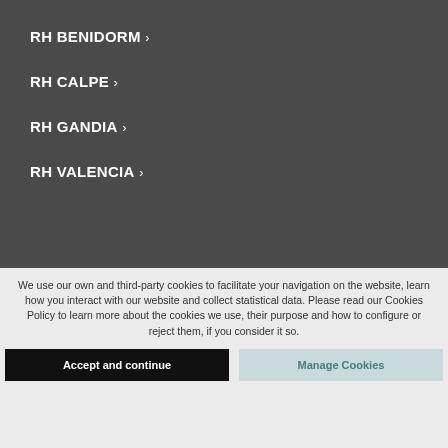RH BENIDORM ›
RH CALPE ›
RH GANDIA ›
RH VALENCIA ›
We use our own and third-party cookies to facilitate your navigation on the website, learn how you interact with our website and collect statistical data. Please read our Cookies Policy to learn more about the cookies we use, their purpose and how to configure or reject them, if you consider it so.
Accept and continue
Manage Cookies